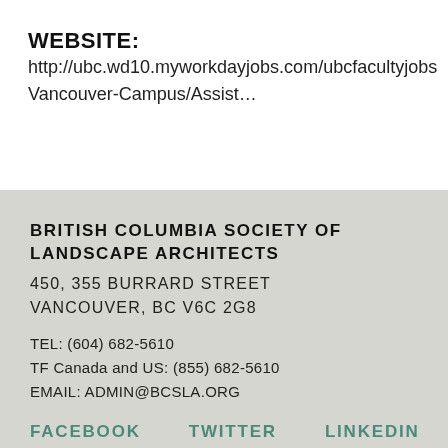WEBSITE:
http://ubc.wd10.myworkdayjobs.com/ubcfacultyjobs/Vancouver-Campus/Assist…
BRITISH COLUMBIA SOCIETY OF LANDSCAPE ARCHITECTS
450, 355 BURRARD STREET
VANCOUVER, BC V6C 2G8

TEL: (604) 682-5610
TF Canada and US: (855) 682-5610
EMAIL: ADMIN@BCSLA.ORG
FACEBOOK   TWITTER   LINKEDIN